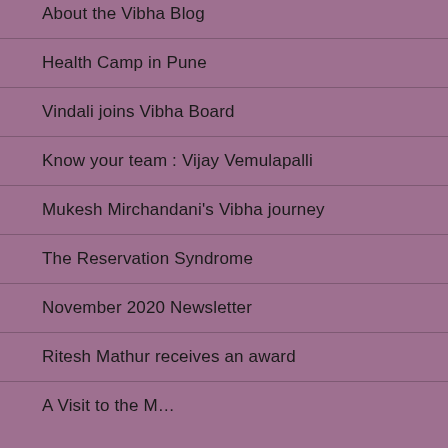About the Vibha Blog
Health Camp in Pune
Vindali joins Vibha Board
Know your team : Vijay Vemulapalli
Mukesh Mirchandani's Vibha journey
The Reservation Syndrome
November 2020 Newsletter
Ritesh Mathur receives an award
A Visit to the…